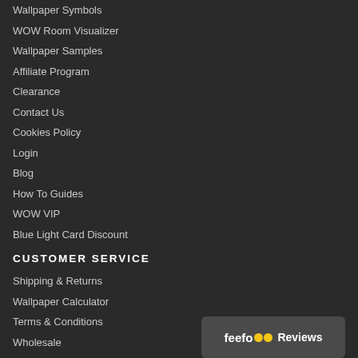Wallpaper Symbols
WOW Room Visualizer
Wallpaper Samples
Affiliate Program
Clearance
Contact Us
Cookies Policy
Login
Blog
How To Guides
WOW VIP
Blue Light Card Discount
CUSTOMER SERVICE
Shipping & Returns
Wallpaper Calculator
Terms & Conditions
Wholesale
Hotels
[Figure (logo): Feefo Reviews badge with yellow dots]